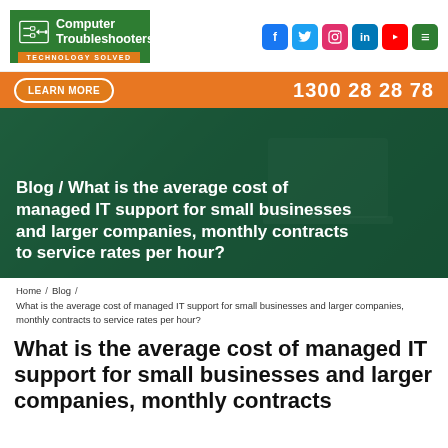[Figure (logo): Computer Troubleshooters logo — green background with cable/plug icon, white text 'Computer Troubleshooters', orange tagline 'TECHNOLOGY SOLVED']
[Figure (infographic): Social media icons: Facebook, Twitter, Instagram, LinkedIn, YouTube, and hamburger menu button]
LEARN MORE   1300 28 28 78
Blog / What is the average cost of managed IT support for small businesses and larger companies, monthly contracts to service rates per hour?
Home / Blog / What is the average cost of managed IT support for small businesses and larger companies, monthly contracts to service rates per hour?
What is the average cost of managed IT support for small businesses and larger companies, monthly contracts